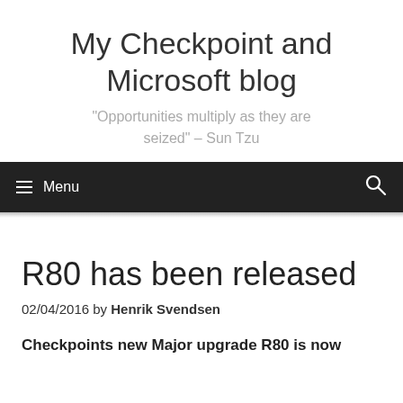My Checkpoint and Microsoft blog
"Opportunities multiply as they are seized" – Sun Tzu
≡ Menu  🔍
R80 has been released
02/04/2016 by Henrik Svendsen
Checkpoints new Major upgrade R80 is now